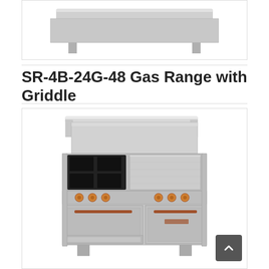[Figure (photo): Top portion of a commercial stainless steel gas range product photo, showing the upper part of the appliance with shelving.]
SR-4B-24G-48 Gas Range with Griddle
[Figure (photo): Commercial stainless steel SR-4B-24G-48 Gas Range with Griddle. Shows 4 burners on the left side and a 24-inch griddle on the right, with copper-colored knobs, two oven doors/storage drawers at the bottom, and a backsplash with overhead shelf.]